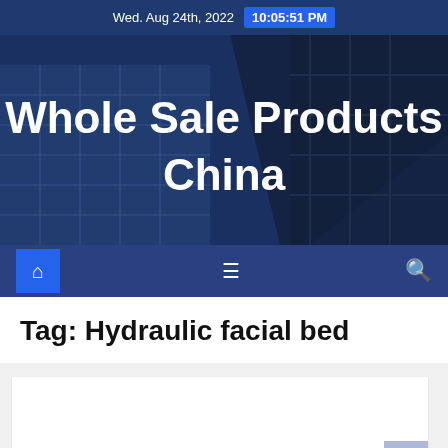Wed. Aug 24th, 2022  10:05:51 PM
[Figure (illustration): Hero banner with city building background and site title 'Whole Sale Products China']
Whole Sale Products China
Navigation bar with home icon, menu icon, and search icon
Tag: Hydraulic facial bed
[Figure (other): White card content area on light grey background with scroll-to-top button and blue bar at bottom]